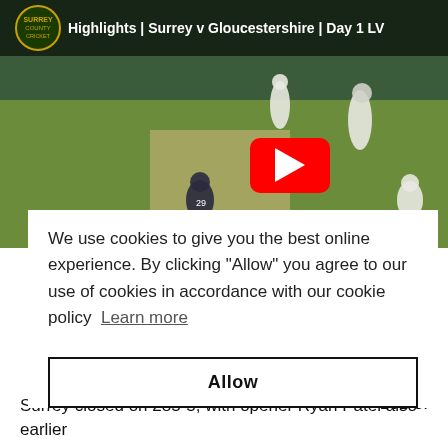[Figure (screenshot): YouTube video thumbnail showing cricket match highlights: Surrey v Gloucestershire Day 1 LV, with YouTube play button overlay and Surrey County Cricket Club logo]
We use cookies to give you the best online experience. By clicking "Allow" you agree to our use of cookies in accordance with our cookie policy  Learn more
Allow
181-5.
Surrey closed on 285-5, with opener Ryan Patel also earlier